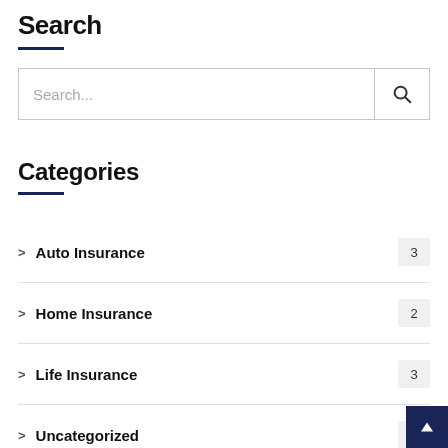Search
[Figure (screenshot): Search input box with placeholder text 'Search...' and a search icon button on the right]
Categories
> Auto Insurance  3
> Home Insurance  2
> Life Insurance  3
> Uncategorized  1